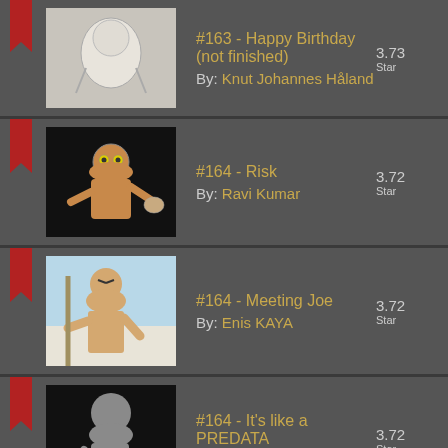#163 - Happy Birthday (not finished)
By: Knut Johannes Håland
3.73 Stars
#164 - Risk
By: Ravi Kumar
3.72 Stars
#164 - Meeting Joe
By: Enis KAYA
3.72 Stars
#164 - It's like a PREDATA
By: Lee Evans
3.72 Stars